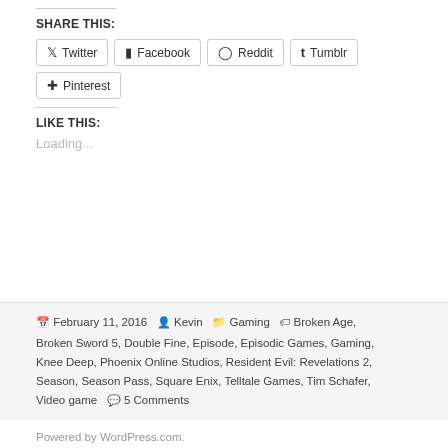SHARE THIS:
Twitter
Facebook
Reddit
Tumblr
Pinterest
LIKE THIS:
Loading...
February 11, 2016  Kevin  Gaming  Broken Age, Broken Sword 5, Double Fine, Episode, Episodic Games, Gaming, Knee Deep, Phoenix Online Studios, Resident Evil: Revelations 2, Season, Season Pass, Square Enix, Telltale Games, Tim Schafer, Video game  5 Comments
Powered by WordPress.com.